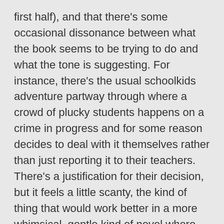first half), and that there's some occasional dissonance between what the book seems to be trying to do and what the tone is suggesting. For instance, there's the usual schoolkids adventure partway through where a crowd of plucky students happens on a crime in progress and for some reason decides to deal with it themselves rather than just reporting it to their teachers. There's a justification for their decision, but it feels a little scanty, the kind of thing that would work better in a more whimsical, gentle kind of novel where the main characters can assume their own immortality more easily. Red Sister is just a little too tonally dark for that to be an easy sell. Despite his change in style, this is still very much Mark Lawrence we're dealing with. The shadowy corners of his magic school are filled not with cartoonish villains twirling their mustaches but with very real savagery and threat of violence.
[Figure (other): A circular blue up-arrow navigation button]